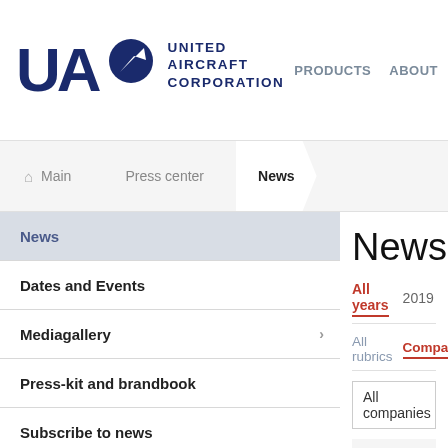[Figure (logo): UAC - United Aircraft Corporation logo with blue letters and globe icon]
PRODUCTS   ABOUT
Main   Press center   News
News
Dates and Events
Mediagallery
Press-kit and brandbook
Subscribe to news
News
All years   2019
All rubrics   Companies
All companies
25 December 2021